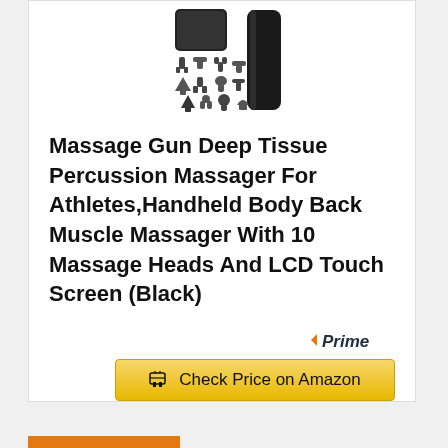[Figure (photo): Product photo of a massage gun with 10 massage head attachments displayed alongside a black handheld device]
Massage Gun Deep Tissue Percussion Massager For Athletes,Handheld Body Back Muscle Massager With 10 Massage Heads And LCD Touch Screen (Black)
[Figure (logo): Amazon Prime badge with orange checkmark and italic Prime text]
Check Price on Amazon